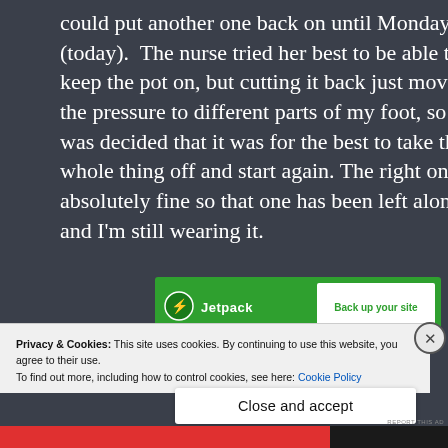could put another one back on until Monday (today).  The nurse tried her best to be able to keep the pot on, but cutting it back just moved the pressure to different parts of my foot, so it was decided that it was for the best to take the whole thing off and start again. The right one is absolutely fine so that one has been left alone and I'm still wearing it.
[Figure (screenshot): Jetpack advertisement banner with green background showing logo and 'Back up your site' call-to-action button]
Privacy & Cookies: This site uses cookies. By continuing to use this website, you agree to their use.
To find out more, including how to control cookies, see here: Cookie Policy
Close and accept